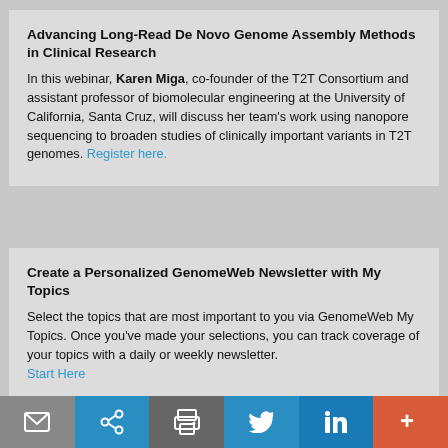Advancing Long-Read De Novo Genome Assembly Methods in Clinical Research
In this webinar, Karen Miga, co-founder of the T2T Consortium and assistant professor of biomolecular engineering at the University of California, Santa Cruz, will discuss her team's work using nanopore sequencing to broaden studies of clinically important variants in T2T genomes. Register here.
Create a Personalized GenomeWeb Newsletter with My Topics
Select the topics that are most important to you via GenomeWeb My Topics. Once you've made your selections, you can track coverage of your topics with a daily or weekly newsletter. Start Here